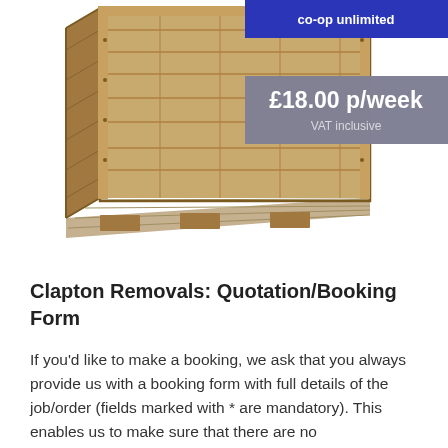[Figure (photo): A wooden storage crate/box open at the front, showing interior plywood walls and floor. Overlaid with a blue banner at top (partially cut off, text not fully visible) and a gray price box reading £18.00 p/week VAT inclusive.]
Clapton Removals: Quotation/Booking Form
If you'd like to make a booking, we ask that you always provide us with a booking form with full details of the job/order (fields marked with * are mandatory). This enables us to make sure that there are no